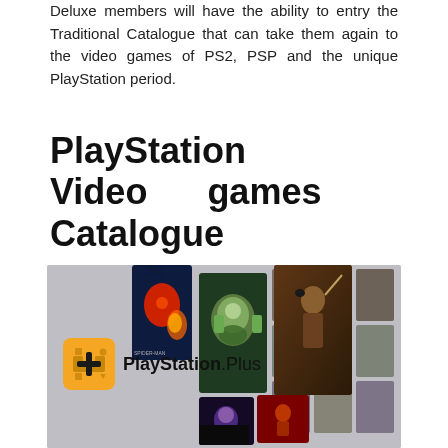Deluxe members will have the ability to entry the Traditional Catalogue that can take them again to the video games of PS2, PSP and the unique PlayStation period.
PlayStation Video games Catalogue
[Figure (illustration): PlayStation Plus promotional image showing game catalogue. Features the PlayStation Plus logo (yellow/gold icon with controller symbols and 'PlayStation Plus' text) on a grey background with various video game cover art cards including Spider-Man Miles Morales, Metroid, Assassin's Creed, and other titles arranged in a collage style.]